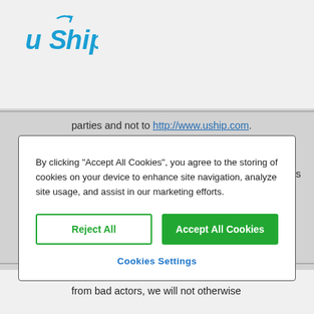[Figure (logo): uShip logo in blue with arrow on the letter S]
parties and not to http://www.uship.com.
Legal Requests: uShip cooperates with law enforcement inquiries, as well as other third parties to enforce laws, such as: intellectual
By clicking “Accept All Cookies”, you agree to the storing of cookies on your device to enhance site navigation, analyze site usage, and assist in our marketing efforts.
Reject All
Accept All Cookies
Cookies Settings
privacy and our ability to keep the community free from bad actors, we will not otherwise